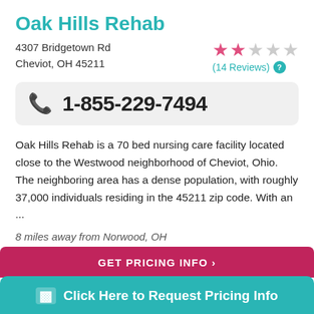Oak Hills Rehab
4307 Bridgetown Rd
Cheviot, OH 45211
[Figure (other): Star rating: 2 out of 5 stars (14 Reviews) with help icon]
[Figure (other): Phone number box with teal phone icon showing 1-855-229-7494]
Oak Hills Rehab is a 70 bed nursing care facility located close to the Westwood neighborhood of Cheviot, Ohio. The neighboring area has a dense population, with roughly 37,000 individuals residing in the 45211 zip code. With an ...
8 miles away from Norwood, OH
GET PRICING INFO >
Click Here to Request Pricing Info